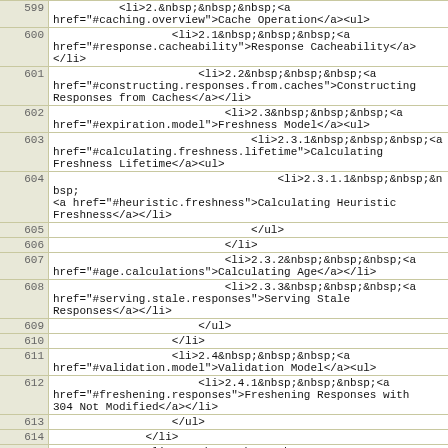| line | code |
| --- | --- |
| 599 | <li>2.&nbsp;&nbsp;&nbsp;<a href="#caching.overview">Cache Operation</a><ul> |
| 600 |         <li>2.1&nbsp;&nbsp;&nbsp;<a href="#response.cacheability">Response Cacheability</a></li> |
| 601 |             <li>2.2&nbsp;&nbsp;&nbsp;<a href="#constructing.responses.from.caches">Constructing Responses from Caches</a></li> |
| 602 |                 <li>2.3&nbsp;&nbsp;&nbsp;<a href="#expiration.model">Freshness Model</a><ul> |
| 603 |                     <li>2.3.1&nbsp;&nbsp;&nbsp;<a href="#calculating.freshness.lifetime">Calculating Freshness Lifetime</a><ul> |
| 604 |                         <li>2.3.1.1&nbsp;&nbsp;&nbsp;<a href="#heuristic.freshness">Calculating Heuristic Freshness</a></li> |
| 605 |                         </ul> |
| 606 |                     </li> |
| 607 |                     <li>2.3.2&nbsp;&nbsp;&nbsp;<a href="#age.calculations">Calculating Age</a></li> |
| 608 |                     <li>2.3.3&nbsp;&nbsp;&nbsp;<a href="#serving.stale.responses">Serving Stale Responses</a></li> |
| 609 |                 </ul> |
| 610 |             </li> |
| 611 |             <li>2.4&nbsp;&nbsp;&nbsp;<a href="#validation.model">Validation Model</a><ul> |
| 612 |                 <li>2.4.1&nbsp;&nbsp;&nbsp;<a href="#freshening.responses">Freshening Responses with 304 Not Modified</a></li> |
| 613 |             </ul> |
| 614 |         </li> |
| 615 |         <li>2.5&nbsp;&nbsp;&nbsp;<a href="#head.effects">Updating Caches with HEAD Responses</a></li> |